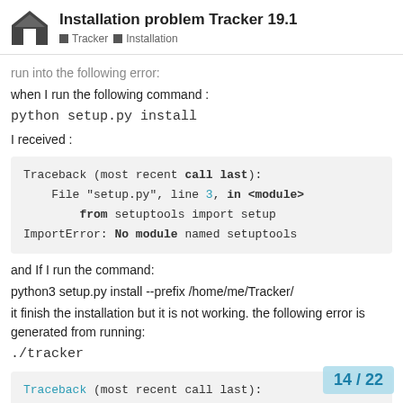Installation problem Tracker 19.1 | Tracker | Installation
run into the following error:
when I run the following command :
python setup.py install
I received :
Traceback (most recent call last):
    File "setup.py", line 3, in <module>
        from setuptools import setup
ImportError: No module named setuptools
and If I run the command:
python3 setup.py install --prefix /home/me/Tracker/
it finish the installation but it is not working. the following error is generated from running:
./tracker
Traceback (most recent call last):
    File "./tracker", line 6, in
        from pkg_resources import .
14 / 22